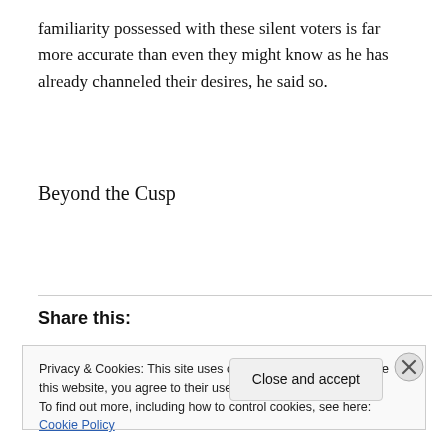familiarity possessed with these silent voters is far more accurate than even they might know as he has already channeled their desires, he said so.
Beyond the Cusp
Share this:
Privacy & Cookies: This site uses cookies. By continuing to use this website, you agree to their use.
To find out more, including how to control cookies, see here: Cookie Policy